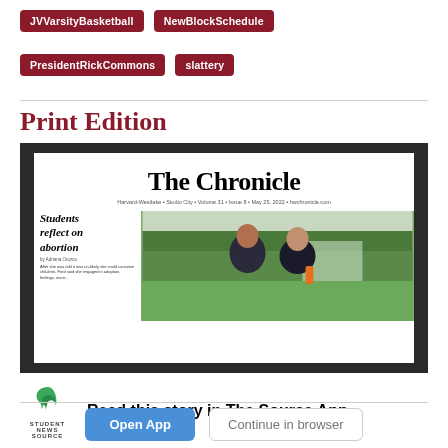JVVarsityBasketball
NewBlockSchedule
PresidentRickCommons
slattery
Print Edition
[Figure (screenshot): Screenshot of The Chronicle newspaper front page showing masthead 'The Chronicle', subtitle 'Harvard-Westlake · Studio City · Volume 31 · Issue 8 · May 25, 2022 · hwchronicle.com', headline 'Students reflect on abortion' with a photo of two young women in athletic wear outdoors.]
Read this story in The Source App...
Open App
Continue in browser